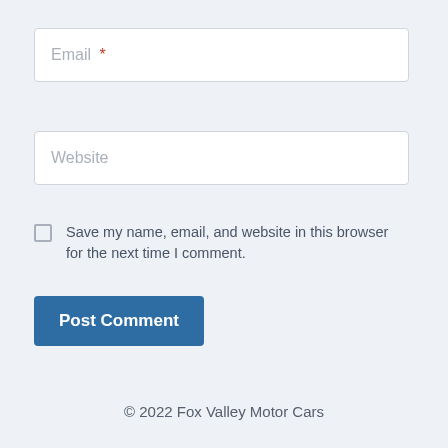Email *
Website
Save my name, email, and website in this browser for the next time I comment.
Post Comment
© 2022 Fox Valley Motor Cars